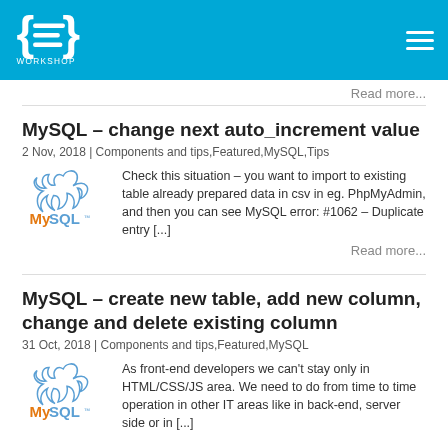CSS Workshop
Read more...
MySQL – change next auto_increment value
2 Nov, 2018 | Components and tips,Featured,MySQL,Tips
Check this situation – you want to import to existing table already prepared data in csv in eg. PhpMyAdmin, and then you can see MySQL error: #1062 – Duplicate entry [...]
Read more...
MySQL – create new table, add new column, change and delete existing column
31 Oct, 2018 | Components and tips,Featured,MySQL
As front-end developers we can't stay only in HTML/CSS/JS area. We need to do from time to time operation in other IT areas like in back-end, server side or in [...]